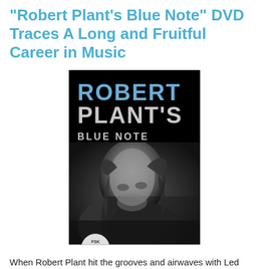"Robert Plant's Blue Note" DVD Traces A Long and Fruitful Career in Music
[Figure (photo): DVD cover of 'Robert Plant's Blue Note' showing a black and white photo of Robert Plant with curly hair looking upward. The title text 'ROBERT PLANT'S BLUE NOTE' appears at the top of the cover. A FSK 0 rating circle is visible at the bottom left of the cover.]
When Robert Plant hit the grooves and airwaves with Led Zeppelin as I was coming of age, I have to say that I took